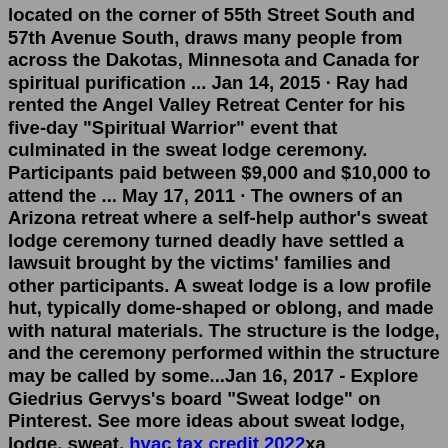located on the corner of 55th Street South and 57th Avenue South, draws many people from across the Dakotas, Minnesota and Canada for spiritual purification ... Jan 14, 2015 · Ray had rented the Angel Valley Retreat Center for his five-day "Spiritual Warrior" event that culminated in the sweat lodge ceremony. Participants paid between $9,000 and $10,000 to attend the ... May 17, 2011 · The owners of an Arizona retreat where a self-help author's sweat lodge ceremony turned deadly have settled a lawsuit brought by the victims' families and other participants. A sweat lodge is a low profile hut, typically dome-shaped or oblong, and made with natural materials. The structure is the lodge, and the ceremony performed within the structure may be called by some...Jan 16, 2017 - Explore Giedrius Gervys's board "Sweat lodge" on Pinterest. See more ideas about sweat lodge, lodge, sweat. hvac tax credit 2022xa